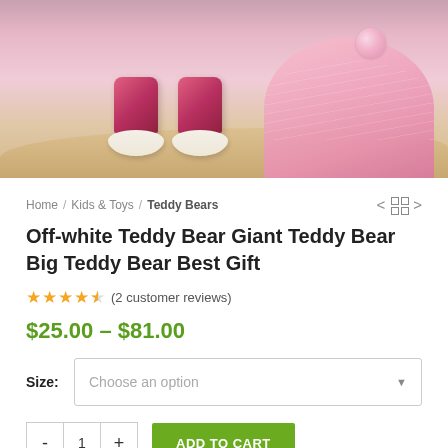[Figure (photo): Close-up photo of two teddy bear plush toys on a sandy surface. One bear wears shiny pink pants/boots showing cream-colored soles, the other wears a pink tulle/satin dress with a rose detail. Sandy beach-like background.]
Home / Kids & Toys / Teddy Bears
Off-white Teddy Bear Giant Teddy Bear Big Teddy Bear Best Gift
★★★★½ (2 customer reviews)
$25.00 – $81.00
Size: Choose an option
- 1 + ADD TO CART